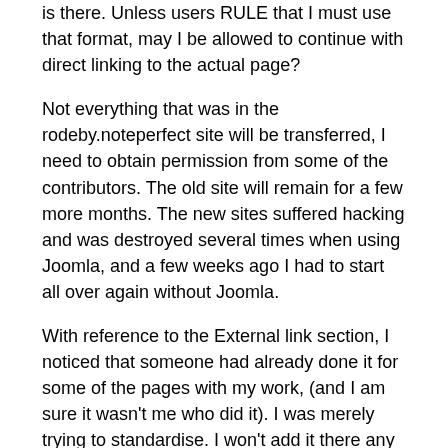is there. Unless users RULE that I must use that format, may I be allowed to continue with direct linking to the actual page?
Not everything that was in the rodeby.noteperfect site will be transferred, I need to obtain permission from some of the contributors. The old site will remain for a few more months. The new sites suffered hacking and was destroyed several times when using Joomla, and a few weeks ago I had to start all over again without Joomla.
With reference to the External link section, I noticed that someone had already done it for some of the pages with my work, (and I am sure it wasn't me who did it). I was merely trying to standardise. I won't add it there any more.
Thank you